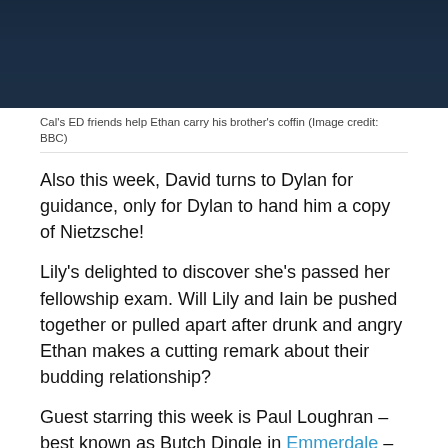[Figure (photo): Dark photo showing people at a coffin-carrying scene, partially cropped at top]
Cal's ED friends help Ethan carry his brother's coffin (Image credit: BBC)
Also this week, David turns to Dylan for guidance, only for Dylan to hand him a copy of Nietzsche!
Lily's delighted to discover she's passed her fellowship exam. Will Lily and Iain be pushed together or pulled apart after drunk and angry Ethan makes a cutting remark about their budding relationship?
Guest starring this week is Paul Loughran – best known as Butch Dingle in Emmerdale – in a heartbreaking story about a grieving father and son relationship damaged by secrets and lies.